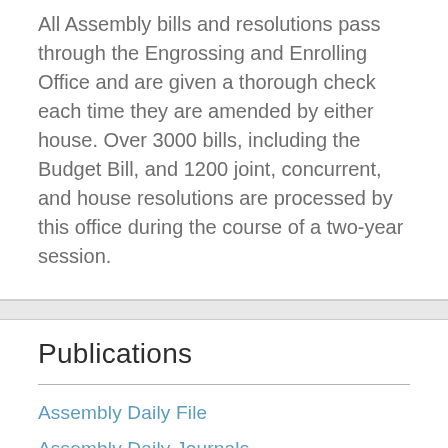All Assembly bills and resolutions pass through the Engrossing and Enrolling Office and are given a thorough check each time they are amended by either house. Over 3000 bills, including the Budget Bill, and 1200 joint, concurrent, and house resolutions are processed by this office during the course of a two-year session.
Publications
Assembly Daily File
Assembly Daily Journals
Assembly Weekly Histories
Assembly Daily History
Archived Publications